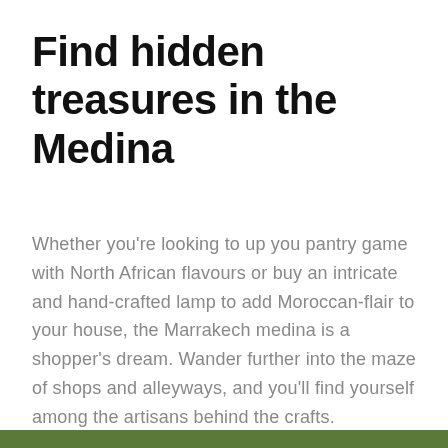Find hidden treasures in the Medina
Whether you're looking to up you pantry game with North African flavours or buy an intricate and hand-crafted lamp to add Moroccan-flair to your house, the Marrakech medina is a shopper's dream. Wander further into the maze of shops and alleyways, and you'll find yourself among the artisans behind the crafts.